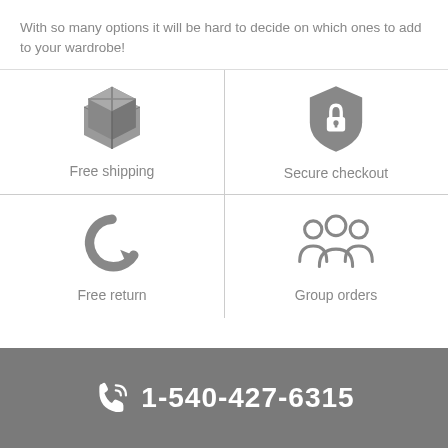With so many options it will be hard to decide on which ones to add to your wardrobe!
[Figure (illustration): Four-quadrant grid with icons: Free shipping (box icon), Secure checkout (lock/shield icon), Free return (circular arrow icon), Group orders (group of people icon)]
Free shipping
Secure checkout
Free return
Group orders
1-540-427-6315